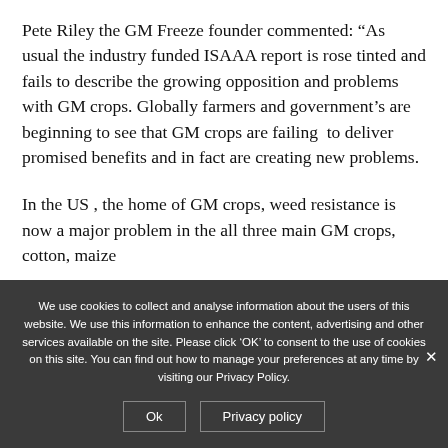Pete Riley the GM Freeze founder commented: “As usual the industry funded ISAAA report is rose tinted and fails to describe the growing opposition and problems with GM crops. Globally farmers and government’s are beginning to see that GM crops are failing  to deliver promised benefits and in fact are creating new problems.
In the US , the home of GM crops, weed resistance is now a major problem in the all three main GM crops, cotton, maize
We use cookies to collect and analyse information about the users of this website. We use this information to enhance the content, advertising and other services available on the site. Please click ‘OK’ to consent to the use of cookies on this site. You can find out how to manage your preferences at any time by visiting our Privacy Policy.